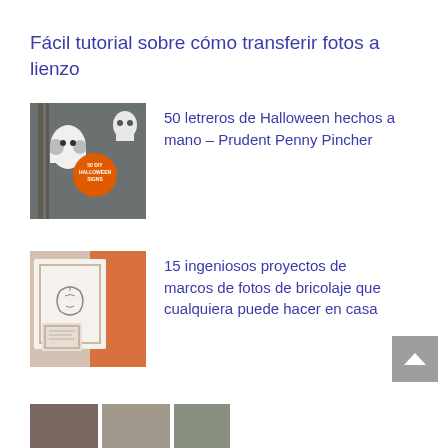Fácil tutorial sobre cómo transferir fotos a lienzo
[Figure (photo): Collage of Halloween DIY signs including ghost, skull and orange circle sign reading '50 DIY Halloween Signs']
50 letreros de Halloween hechos a mano – Prudent Penny Pincher
[Figure (photo): DIY photo frames project showing wooden frames with line art sketches on white/orange background]
15 ingeniosos proyectos de marcos de fotos de bricolaje que cualquiera puede hacer en casa
[Figure (photo): Bottom strip thumbnail image partially visible]